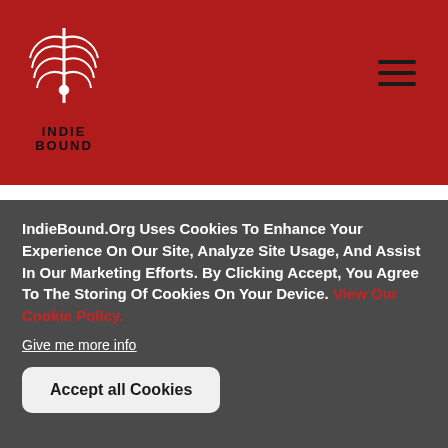IndieBound logo header with hamburger menu
to track down an evil priest and save their circus family before it's too late.
IndieBound.Org Uses Cookies To Enhance Your Experience On Our Site, Analyze Site Usage, And Assist In Our Marketing Efforts. By Clicking Accept, You Agree To The Storing Of Cookies On Your Device. View Our Cookie Policy.
Give me more info
Accept all Cookies